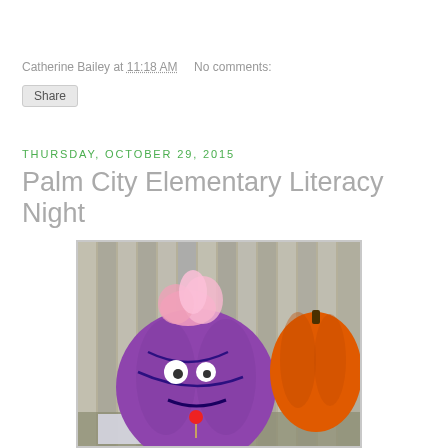Catherine Bailey at 11:18 AM   No comments:
Share
Thursday, October 29, 2015
Palm City Elementary Literacy Night
[Figure (photo): A purple decorated pumpkin with pink feathers on top, googly eyes, and bead decorations, resembling a monster face. An orange pumpkin is partially visible on the right. Both sit on a table with papers underneath.]